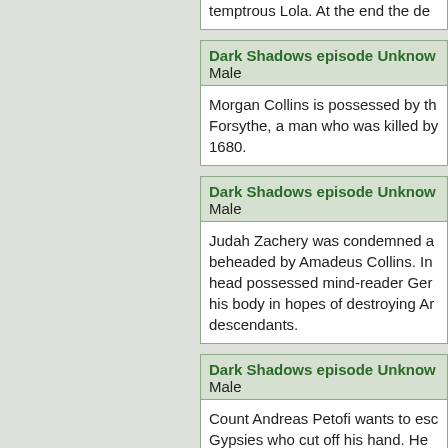temptrous Lola. At the end the de...
Dark Shadows episode Unknow...
Male
Morgan Collins is possessed by the spirit of Forsythe, a man who was killed by... 1680.
Dark Shadows episode Unknow...
Male
Judah Zachery was condemned a... beheaded by Amadeus Collins. In... head possessed mind-reader Ger... his body in hopes of destroying A... descendants.
Dark Shadows episode Unknow...
Male
Count Andreas Petofi wants to esc... Gypsies who cut off his hand. He b... in time to the future, but it requires... living in that time. So, killing two b... he switches bodies with Quentin C... gets away with it, but... more